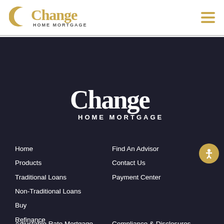[Figure (logo): Change Home Mortgage logo in gold/amber color with crescent C shape, header version]
[Figure (logo): Hamburger menu icon with three gold horizontal lines]
[Figure (logo): Change Home Mortgage logo in white on dark background, large centered version]
Home
Products
Traditional Loans
Non-Traditional Loans
Buy
Refinance
Find An Advisor
Contact Us
Payment Center
Adjustable Rate Mortgage Handbook
Your Home Loan Toolkit
Compliance & Disclosures
Licensing
Privacy Policy
Consumer Complaints